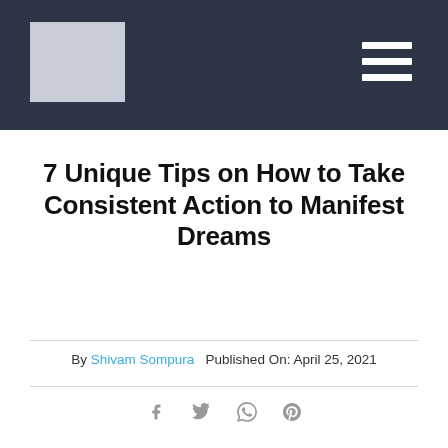7 Unique Tips on How to Take Consistent Action to Manifest Dreams
By Shivam Sompura  Published On: April 25, 2021